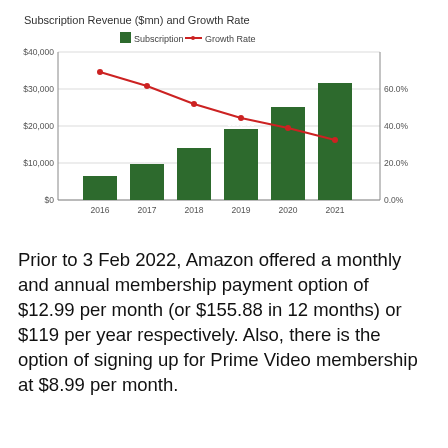[Figure (bar-chart): Subscription Revenue ($mn) and Growth Rate]
Prior to 3 Feb 2022, Amazon offered a monthly and annual membership payment option of $12.99 per month (or $155.88 in 12 months) or $119 per year respectively. Also, there is the option of signing up for Prime Video membership at $8.99 per month.